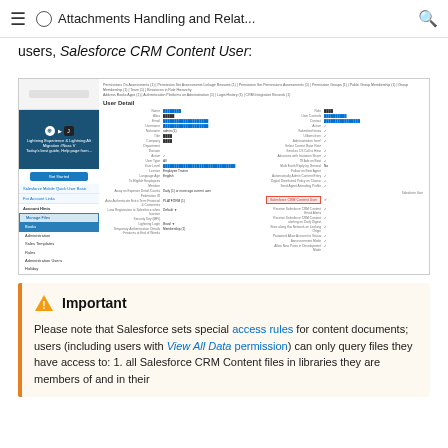☰ ○ Attachments Handling and Relat... 🔍
users, Salesforce CRM Content User:
[Figure (screenshot): Salesforce User Detail page screenshot showing the 'Salesforce CRM Content User' checkbox highlighted in the permission section, with a sidebar navigation on the left showing menu items including a highlighted 'Manage Files' option.]
Please note that Salesforce sets special access rules for content documents; users (including users with View All Data permission) can only query files they have access to: 1. all Salesforce CRM Content files in libraries they are members of and in their